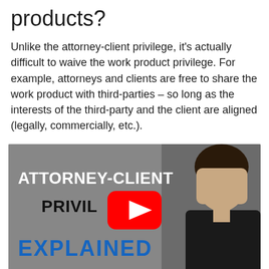products?
Unlike the attorney-client privilege, it's actually difficult to waive the work product privilege. For example, attorneys and clients are free to share the work product with third-parties – so long as the interests of the third-party and the client are aligned (legally, commercially, etc.).
[Figure (photo): YouTube video thumbnail showing a man in a black jacket smiling, with text overlays reading ATTORNEY-CLIENT PRIVILEGE EXPLAINED in white, black, and blue bold fonts, and a red YouTube play button in the center.]